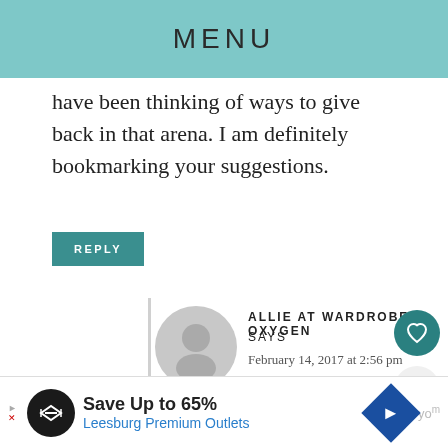MENU
have been thinking of ways to give back in that arena. I am definitely bookmarking your suggestions.
REPLY
ALLIE AT WARDROBE OXYGEN SAYS
February 14, 2017 at 2:56 pm
For those interested in this piece, here’s the link:
http://highline.huffingtonpost.com/ar
[Figure (other): Advertisement bar: Save Up to 65% Leesburg Premium Outlets]
[Figure (other): User avatar placeholder circle, gray]